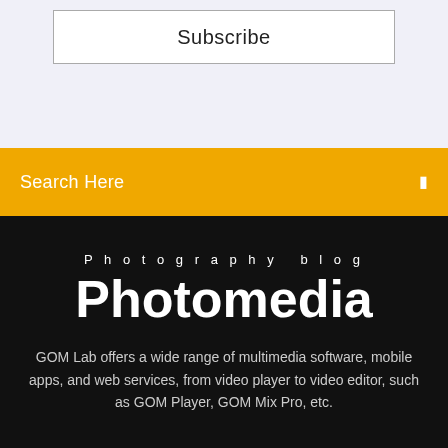Subscribe
Search Here
Photography blog
Photomedia
GOM Lab offers a wide range of multimedia software, mobile apps, and web services, from video player to video editor, such as GOM Player, GOM Mix Pro, etc.